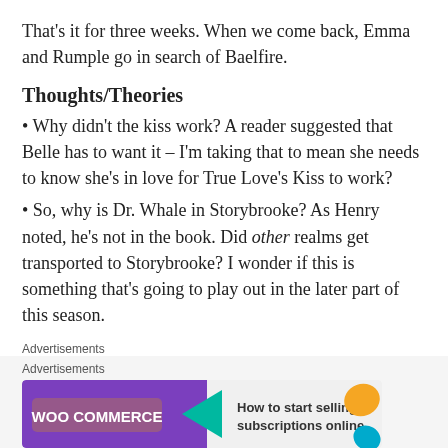That's it for three weeks. When we come back, Emma and Rumple go in search of Baelfire.
Thoughts/Theories
• Why didn't the kiss work? A reader suggested that Belle has to want it – I'm taking that to mean she needs to know she's in love for True Love's Kiss to work?
• So, why is Dr. Whale in Storybrooke? As Henry noted, he's not in the book. Did other realms get transported to Storybrooke? I wonder if this is something that's going to play out in the later part of this season.
[Figure (other): Fandom on Tumblr advertisement banner with colorful music-themed background]
Advertisements
[Figure (other): WooCommerce advertisement: How to start selling subscriptions online]
Advertisements